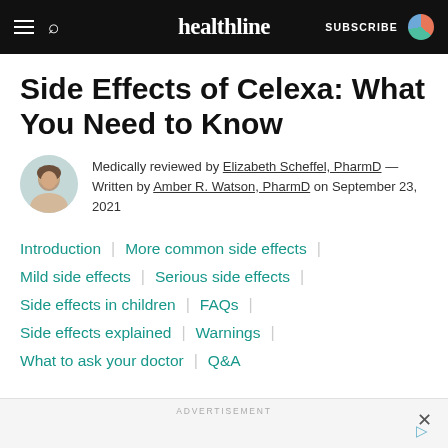healthline | SUBSCRIBE
Side Effects of Celexa: What You Need to Know
Medically reviewed by Elizabeth Scheffel, PharmD — Written by Amber R. Watson, PharmD on September 23, 2021
Introduction
More common side effects
Mild side effects
Serious side effects
Side effects in children
FAQs
Side effects explained
Warnings
What to ask your doctor
Q&A
ADVERTISEMENT